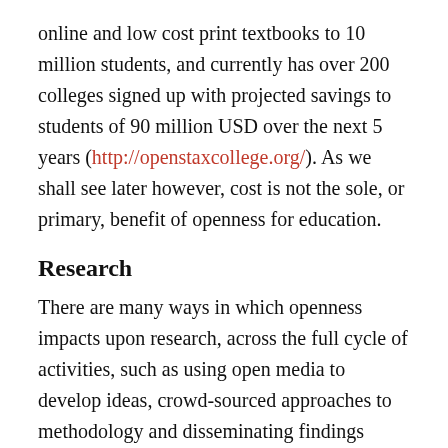online and low cost print textbooks to 10 million students, and currently has over 200 colleges signed up with projected savings to students of 90 million USD over the next 5 years (http://openstaxcollege.org/). As we shall see later however, cost is not the sole, or primary, benefit of openness for education.
Research
There are many ways in which openness impacts upon research, across the full cycle of activities, such as using open media to develop ideas, crowd-sourced approaches to methodology and disseminating findings openly. As with teaching, the victory of the open approach is tangible in a number of ways in the area of research.